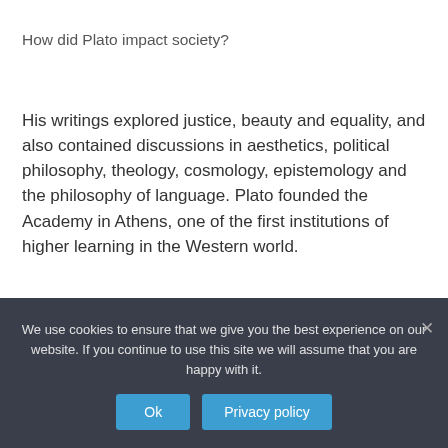How did Plato impact society?
His writings explored justice, beauty and equality, and also contained discussions in aesthetics, political philosophy, theology, cosmology, epistemology and the philosophy of language. Plato founded the Academy in Athens, one of the first institutions of higher learning in the Western world.
Can I get a job with a philosophy degree?
We use cookies to ensure that we give you the best experience on our website. If you continue to use this site we will assume that you are happy with it.